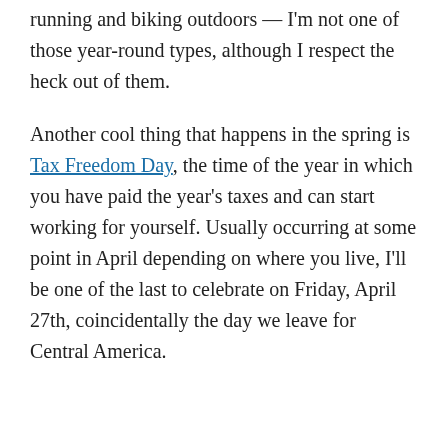running and biking outdoors — I'm not one of those year-round types, although I respect the heck out of them.
Another cool thing that happens in the spring is Tax Freedom Day, the time of the year in which you have paid the year's taxes and can start working for yourself. Usually occurring at some point in April depending on where you live, I'll be one of the last to celebrate on Friday, April 27th, coincidentally the day we leave for Central America.